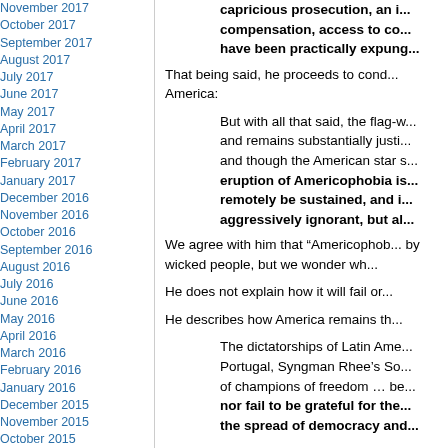November 2017
October 2017
September 2017
August 2017
July 2017
June 2017
May 2017
April 2017
March 2017
February 2017
January 2017
December 2016
November 2016
October 2016
September 2016
August 2016
July 2016
June 2016
May 2016
April 2016
March 2016
February 2016
January 2016
December 2015
November 2015
October 2015
September 2015
August 2015
July 2015
June 2015
May 2015
April 2015
capricious prosecution, an i... compensation, access to co... have been practically expung...
That being said, he proceeds to cond... America:
But with all that said, the flag-w... and remains substantially justi... and though the American star s... eruption of Americophobia is... remotely be sustained, and i... aggressively ignorant, but al...
We agree with him that “Americophob... by wicked people, but we wonder wh...
He does not explain how it will fail or...
He describes how America remains th...
The dictatorships of Latin Ame... Portugal, Syngman Rhee’s So... of champions of freedom … be... nor fail to be grateful for the... the spread of democracy and...